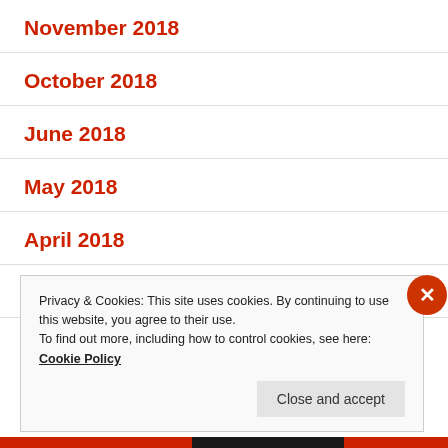November 2018
October 2018
June 2018
May 2018
April 2018
March 2018
Privacy & Cookies: This site uses cookies. By continuing to use this website, you agree to their use.
To find out more, including how to control cookies, see here:
Cookie Policy
Close and accept